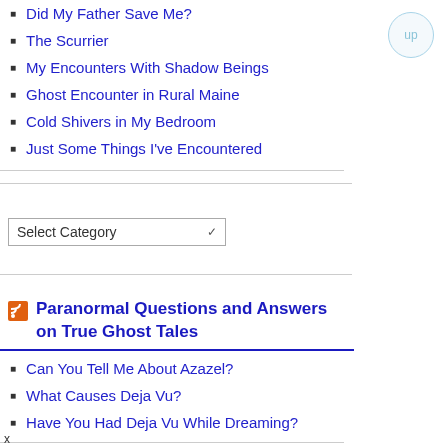Did My Father Save Me?
The Scurrier
My Encounters With Shadow Beings
Ghost Encounter in Rural Maine
Cold Shivers in My Bedroom
Just Some Things I've Encountered
Select Category
Paranormal Questions and Answers on True Ghost Tales
Can You Tell Me About Azazel?
What Causes Deja Vu?
Have You Had Deja Vu While Dreaming?